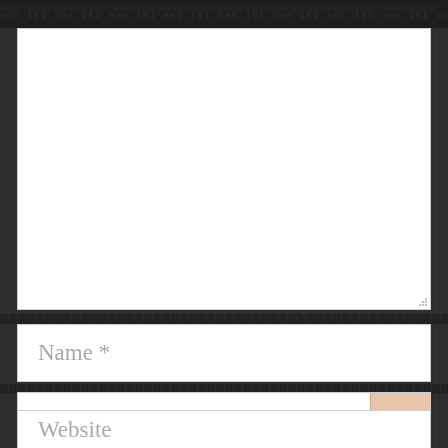[Figure (screenshot): A web form with a large textarea (empty/white), followed by input fields labeled 'Name *', 'Email *', and 'Website'. The background is dark charcoal. There is a beige/pink scroll-to-top button (chevron up) overlapping the email field on the right.]
Name *
Email *
Website